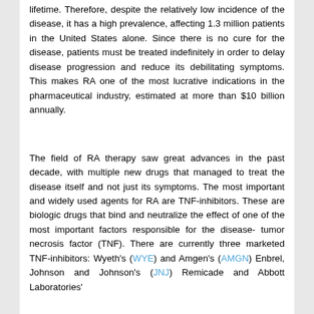lifetime. Therefore, despite the relatively low incidence of the disease, it has a high prevalence, affecting 1.3 million patients in the United States alone. Since there is no cure for the disease, patients must be treated indefinitely in order to delay disease progression and reduce its debilitating symptoms. This makes RA one of the most lucrative indications in the pharmaceutical industry, estimated at more than $10 billion annually.
The field of RA therapy saw great advances in the past decade, with multiple new drugs that managed to treat the disease itself and not just its symptoms. The most important and widely used agents for RA are TNF-inhibitors. These are biologic drugs that bind and neutralize the effect of one of the most important factors responsible for the disease- tumor necrosis factor (TNF). There are currently three marketed TNF-inhibitors: Wyeth's (WYE) and Amgen's (AMGN) Enbrel, Johnson and Johnson's (JNJ) Remicade and Abbott Laboratories'